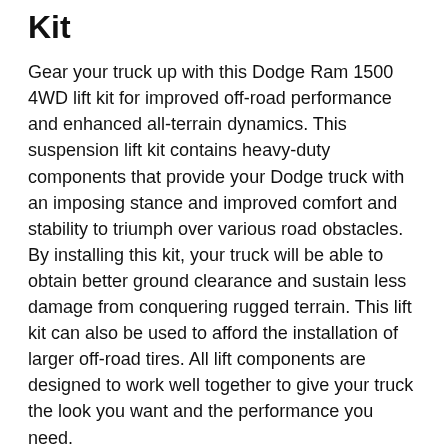Kit
Gear your truck up with this Dodge Ram 1500 4WD lift kit for improved off-road performance and enhanced all-terrain dynamics. This suspension lift kit contains heavy-duty components that provide your Dodge truck with an imposing stance and improved comfort and stability to triumph over various road obstacles. By installing this kit, your truck will be able to obtain better ground clearance and sustain less damage from conquering rugged terrain. This lift kit can also be used to afford the installation of larger off-road tires. All lift components are designed to work well together to give your truck the look you want and the performance you need.
The spring spacers will adjust your front lift, while the lift blocks raise your rear height. The included u-bolts will provide the necessary clamp force to tightly bundle spring and mating parts and may require trimming at the threads to fit your needs. This lift system is made from high-quality materials and CNC machined for structural integrity and